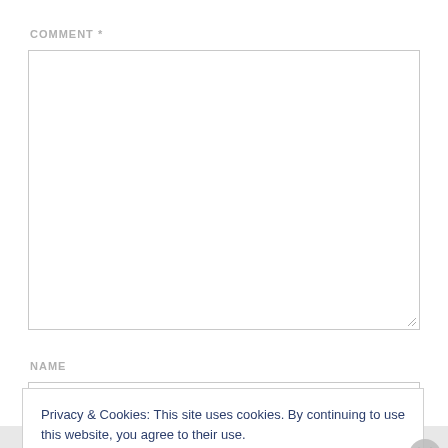COMMENT *
[Figure (other): Empty comment textarea input field with resize handle]
NAME
[Figure (other): Empty name text input field (partially visible behind cookie banner)]
Privacy & Cookies: This site uses cookies. By continuing to use this website, you agree to their use.
To find out more, including how to control cookies, see here: Cookie Policy
Close and accept
REPORT THIS AD